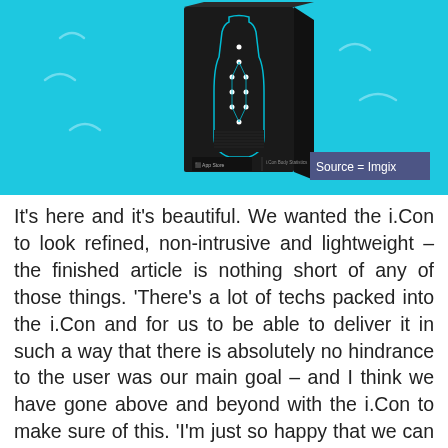[Figure (photo): Product box of i.Con device shown against a bright cyan/blue background with decorative squiggle lines. Box is dark/black with a bottle graphic outlined in blue dots/circuit design. App Store badge visible at bottom. Source attribution badge reads 'Source = Imgix'.]
It's here and it's beautiful. We wanted the i.Con to look refined, non-intrusive and lightweight – the finished article is nothing short of any of those things. 'There's a lot of techs packed into the i.Con and for us to be able to deliver it in such a way that there is absolutely no hindrance to the user was our main goal – and I think we have gone above and beyond with the i.Con to make sure of this. 'I'm just so happy that we can now share the i.Con with the world! (15.2)